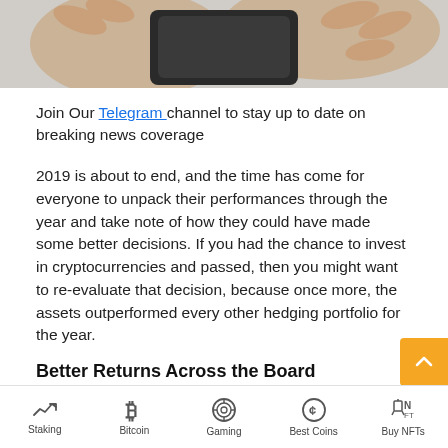[Figure (photo): Hands holding or opening a black leather wallet, close-up photo on gray background]
Join Our Telegram channel to stay up to date on breaking news coverage
2019 is about to end, and the time has come for everyone to unpack their performances through the year and take note of how they could have made some better decisions. If you had the chance to invest in cryptocurrencies and passed, then you might want to re-evaluate that decision, because once more, the assets outperformed every other hedging portfolio for the year.
Better Returns Across the Board
As CoinDesk explained in a December 13. December 1
Staking | Bitcoin | Gaming | Best Coins | Buy NFTs